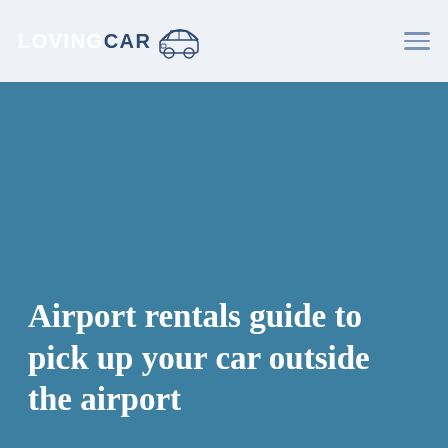LOVING CAR
[Figure (logo): LovingCar logo with car illustration and stylized arc above; text shows LOVING in white and CAR in dark blue, with a car graphic icon]
Airport rentals guide to pick up your car outside the airport